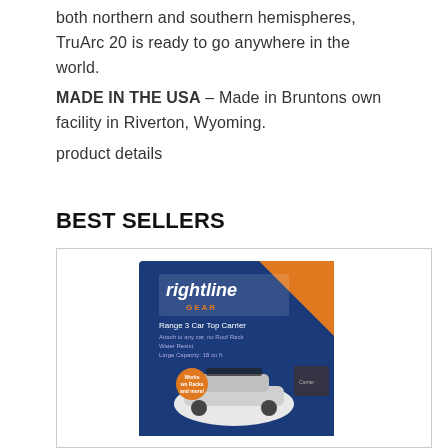both northern and southern hemispheres, TruArc 20 is ready to go anywhere in the world. MADE IN THE USA – Made in Bruntons own facility in Riverton, Wyoming. product details
BEST SELLERS
[Figure (photo): Product box for Rightline Gear Range 3 Car Top Carrier, showing a blue and orange box with an image of a car with a roof carrier on top. The Rightline Gear logo is prominently displayed on the box.]